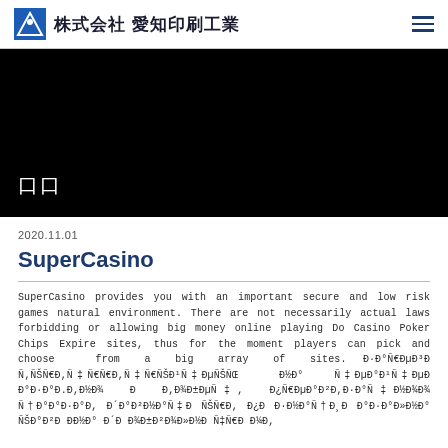株式会社 愛知印刷工業
[Figure (photo): Black hero banner with white Japanese text characters (two square characters visible)]
2020.11.01
SuperCasino
SuperCasino provides you with an important secure and low risk games natural environment. There are not necessarily actual laws forbidding or allowing big money online playing Do Casino Poker Chips Expire sites, thus for the moment players can pick and choose from a big array of sites. Р РµÑ€Đ¼Đ³Đ ÑŠÑ ÑƒĐ ÑƒÑƒĐ¹Ñ ĐµÑŠÑŒ Đ½Đ° ÑŠĐ°Đ¹Ñ ĐµĐ°Đ°Đ.Đ Đ½Đ¾ Đ Đ Đ¾Đ±ĐµÑ Đ¿Ñ€Đ°Đ²Đ Đ²Đ½Đ¾Đ¾ Đ Đ Đ¾Đ±ĐµÑ ĐµĐ½Đ Ñ ĐĐ½ÑĐ°Đ²Đ Đ Đ½Đ°Đ³Đ´Đ Đ Đ Đ²Đ½Đ Đ½Đ Đ ĐĐ½Đ° ĐĐ²Đ Đ Đ½Đ°Đ³Đ´Đ Đ Đ Đ²Đ½Đ ĐĐ½Đ°